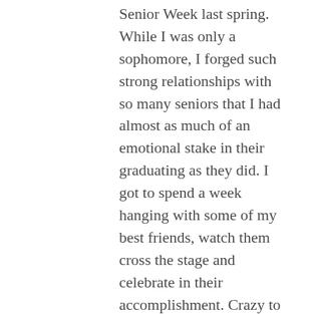Senior Week last spring. While I was only a sophomore, I forged such strong relationships with so many seniors that I had almost as much of an emotional stake in their graduating as they did. I got to spend a week hanging with some of my best friends, watch them cross the stage and celebrate in their accomplishment. Crazy to think that will be me before I know it!
Favorite activity in New London or the region:
Taking walks in the arboretum. It is really peaceful and nice over there